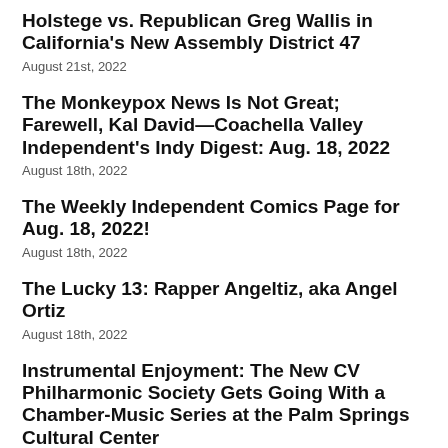Holstege vs. Republican Greg Wallis in California's New Assembly District 47
August 21st, 2022
The Monkeypox News Is Not Great; Farewell, Kal David—Coachella Valley Independent's Indy Digest: Aug. 18, 2022
August 18th, 2022
The Weekly Independent Comics Page for Aug. 18, 2022!
August 18th, 2022
The Lucky 13: Rapper Angeltiz, aka Angel Ortiz
August 18th, 2022
Instrumental Enjoyment: The New CV Philharmonic Society Gets Going With a Chamber-Music Series at the Palm Springs Cultural Center